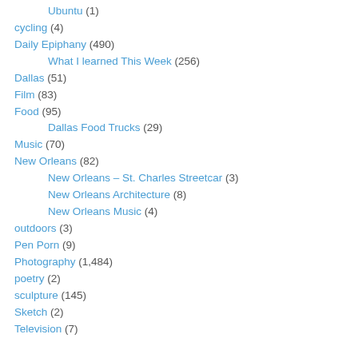Ubuntu (1)
cycling (4)
Daily Epiphany (490)
What I learned This Week (256)
Dallas (51)
Film (83)
Food (95)
Dallas Food Trucks (29)
Music (70)
New Orleans (82)
New Orleans – St. Charles Streetcar (3)
New Orleans Architecture (8)
New Orleans Music (4)
outdoors (3)
Pen Porn (9)
Photography (1,484)
poetry (2)
sculpture (145)
Sketch (2)
Television (7)